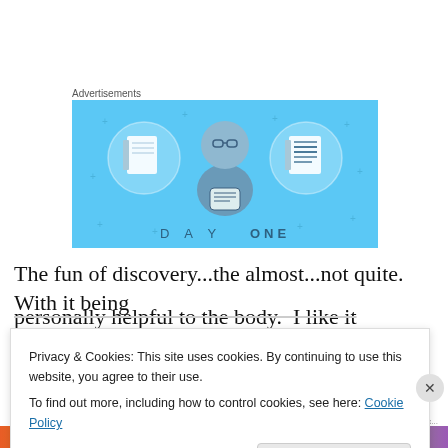Advertisements
[Figure (illustration): Day One app advertisement on a blue background showing a person holding a phone flanked by two notebook/journal icons, with text 'DAY ONE' at the bottom]
The fun of discovery...the almost...not quite.  With it being
personally helpful to the body.  I like it
Privacy & Cookies: This site uses cookies. By continuing to use this website, you agree to their use.
To find out more, including how to control cookies, see here: Cookie Policy
Close and accept
wordpress.c...